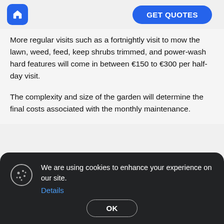GET QUOTES
More regular visits such as a fortnightly visit to mow the lawn, weed, feed, keep shrubs trimmed, and power-wash hard features will come in between €150 to €300 per half-day visit.
The complexity and size of the garden will determine the final costs associated with the monthly maintenance.
We are using cookies to enhance your experience on our site.
Details
ook for in a Landscaping Company?
Selecting a landscaping company is similar to choosing any service provider. Some basic things you should look for are:
OK